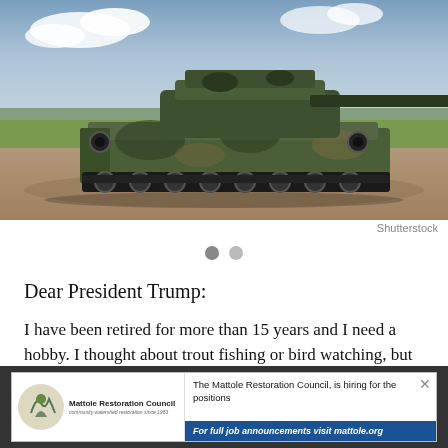[Figure (photo): Military self-propelled artillery / tank in camouflage paint on dirt ground with green grass and blue sky background. Shutterstock image.]
Shutterstock
Dear President Trump:
I have been retired for more than 15 years and I need a hobby. I thought about trout fishing or bird watching, but they are too benign. Although I've never owned a gun, I want one. Not just any gun. I want a tank. A heavily
[Figure (other): Advertisement for Mattole Restoration Council hiring announcement with logo and link to mattole.org]